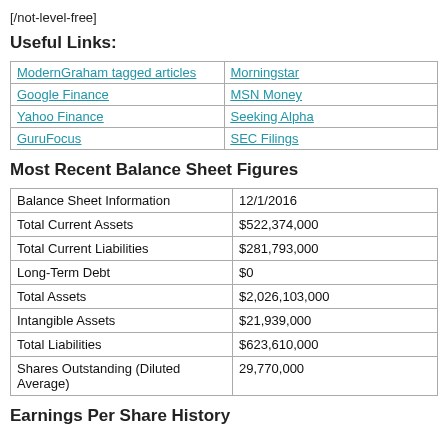[/not-level-free]
Useful Links:
| ModernGraham tagged articles | Morningstar |
| Google Finance | MSN Money |
| Yahoo Finance | Seeking Alpha |
| GuruFocus | SEC Filings |
Most Recent Balance Sheet Figures
| Balance Sheet Information | 12/1/2016 |
| Total Current Assets | $522,374,000 |
| Total Current Liabilities | $281,793,000 |
| Long-Term Debt | $0 |
| Total Assets | $2,026,103,000 |
| Intangible Assets | $21,939,000 |
| Total Liabilities | $623,610,000 |
| Shares Outstanding (Diluted Average) | 29,770,000 |
Earnings Per Share History